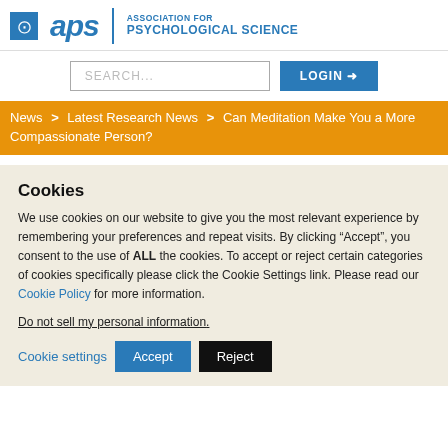APS | ASSOCIATION FOR PSYCHOLOGICAL SCIENCE
SEARCH... LOGIN
News > Latest Research News > Can Meditation Make You a More Compassionate Person?
Cookies
We use cookies on our website to give you the most relevant experience by remembering your preferences and repeat visits. By clicking “Accept”, you consent to the use of ALL the cookies. To accept or reject certain categories of cookies specifically please click the Cookie Settings link. Please read our Cookie Policy for more information.
Do not sell my personal information.
Cookie settings  Accept  Reject